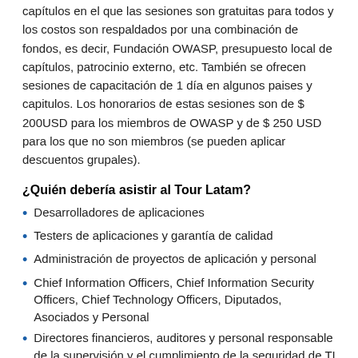Estamos proponiendo un modelo impulsado por conferencias de capítulos en el que las sesiones son gratuitas para todos y los costos son respaldados por una combinación de fondos, es decir, Fundación OWASP, presupuesto local de capítulos, patrocinio externo, etc. También se ofrecen sesiones de capacitación de 1 día en algunos paises y capitulos. Los honorarios de estas sesiones son de $ 200USD para los miembros de OWASP y de $ 250 USD para los que no son miembros (se pueden aplicar descuentos grupales).
¿Quién debería asistir al Tour Latam?
Desarrolladores de aplicaciones
Testers de aplicaciones y garantía de calidad
Administración de proyectos de aplicación y personal
Chief Information Officers, Chief Information Security Officers, Chief Technology Officers, Diputados, Asociados y Personal
Directores financieros, auditores y personal responsable de la supervisión y el cumplimiento de la seguridad de TI
Gerentes de seguridad y personal
Ejecutivos, gerentes y personal responsable de la gobernanza